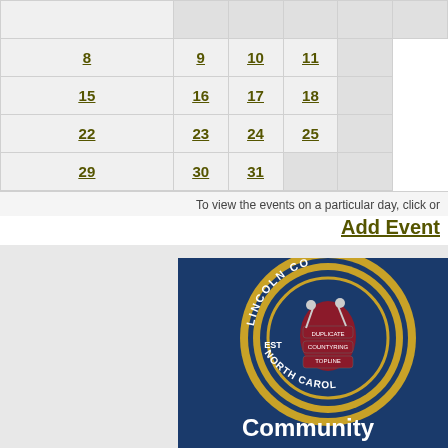|  | 8 | 9 | 10 | 11 |  |
|  | 15 | 16 | 17 | 18 |  |
|  | 22 | 23 | 24 | 25 |  |
|  | 29 | 30 | 31 |  |  |
To view the events on a particular day, click on
Add Event
[Figure (logo): Lincoln County North Carolina seal/logo on dark navy blue background with circular gold border, EST text, and figures. Text 'Community' visible at bottom.]